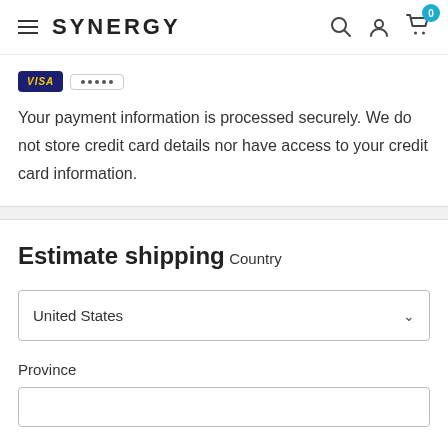SYNERGY
[Figure (other): Credit card payment icons: Visa logo and a card with dots]
Your payment information is processed securely. We do not store credit card details nor have access to your credit card information.
Estimate shipping
Country
United States
Province